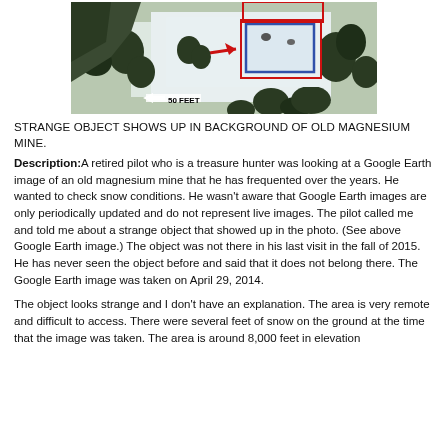[Figure (photo): Aerial/satellite Google Earth image of an old magnesium mine in winter showing snow-covered ground with trees, a rectangular object highlighted with a red box and red arrow pointing to it, and a scale bar showing '50 FEET' with a white arrow.]
STRANGE OBJECT SHOWS UP IN BACKGROUND OF OLD MAGNESIUM MINE.
Description: A retired pilot who is a treasure hunter was looking at a Google Earth image of an old magnesium mine that he has frequented over the years. He wanted to check snow conditions. He wasn't aware that Google Earth images are only periodically updated and do not represent live images. The pilot called me and told me about a strange object that showed up in the photo. (See above Google Earth image.) The object was not there in his last visit in the fall of 2015. He has never seen the object before and said that it does not belong there. The Google Earth image was taken on April 29, 2014.
The object looks strange and I don't have an explanation. The area is very remote and difficult to access. There were several feet of snow on the ground at the time that the image was taken. The area is around 8,000 feet in elevation